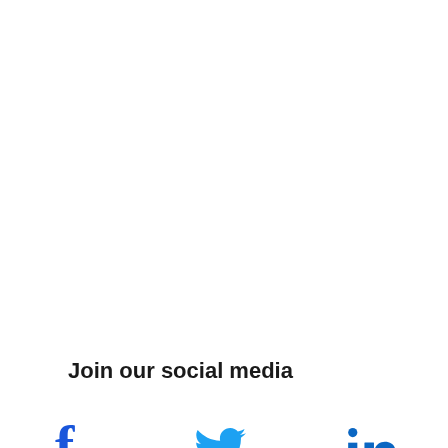Join our social media
[Figure (illustration): Social media icons: Facebook (f), Twitter (bird), LinkedIn (in)]